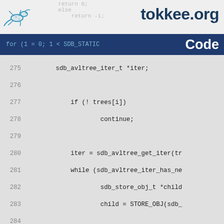tokkee.org Code
[Figure (screenshot): C source code listing, lines 275-302, showing sdb_store_json functions with avltree iteration, filtering, and JSON emit logic]
for (1 = 0; 1 < SDB_STATIC ... Code